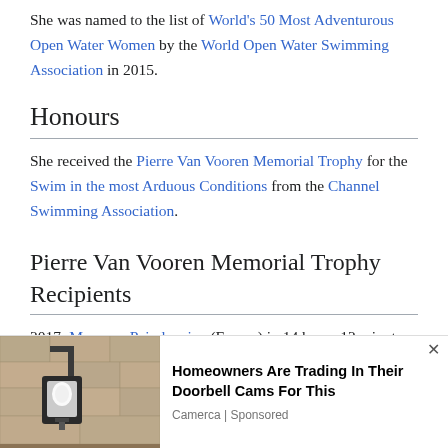She was named to the list of World's 50 Most Adventurous Open Water Women by the World Open Water Swimming Association in 2015.
Honours
She received the Pierre Van Vooren Memorial Trophy for the Swim in the most Arduous Conditions from the Channel Swimming Association.
Pierre Van Vooren Memorial Trophy Recipients
2017: Maxence Paindavoine (France) in 14 hours 12 minutes.
[Figure (other): Advertisement overlay showing a doorbell camera on a wall with text: Homeowners Are Trading In Their Doorbell Cams For This. Camerca | Sponsored]